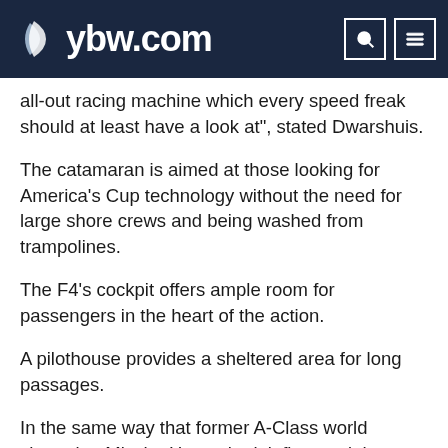ybw.com
all-out racing machine which every speed freak should at least have a look at", stated Dwarshuis.
The catamaran is aimed at those looking for America's Cup technology without the need for large shore crews and being washed from trampolines.
The F4's cockpit offers ample room for passengers in the heart of the action.
A pilothouse provides a sheltered area for long passages.
In the same way that former A-Class world champion Mischa Heemskerk influenced the ergonomics and system development on the DNA F1, America's Cup and Volvo Ocean Race veteran, Shannon Falcone has been the technical advisor for the DNA F4.